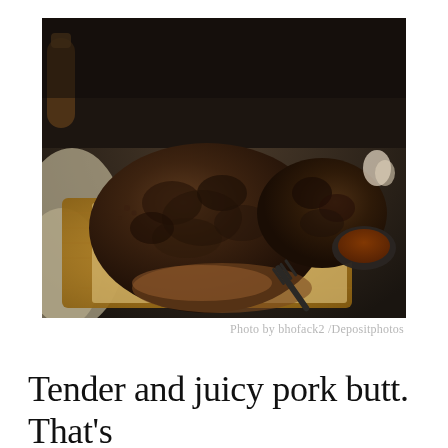[Figure (photo): A photo of two large smoked or rubbed pork butts (pulled pork cuts) resting on brown parchment paper on a wooden cutting board. The meat has a dark, spiced crust. In the background there is a small dark bowl of sauce and a dark metal fork. A cloth and some spices are visible in the background.]
Photo by bhofack2 /Depositphotos
Tender and juicy pork butt. That’s